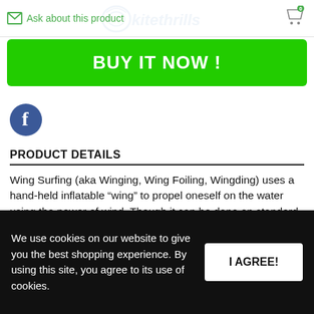Ask about this product | kitethrills
BUY IT NOW !
[Figure (logo): Facebook logo circle blue icon]
PRODUCT DETAILS
Wing Surfing (aka Winging, Wing Foiling, Wingding) uses a hand-held inflatable “wing” to propel oneself on the water using the power of wind. Though it can be done on standard paddle board (SUP) with the addition of center fin or keel, it is most commonly paired with a hydrofoil and foilboard. The low resistance of the
We use cookies on our website to give you the best shopping experience. By using this site, you agree to its use of cookies.